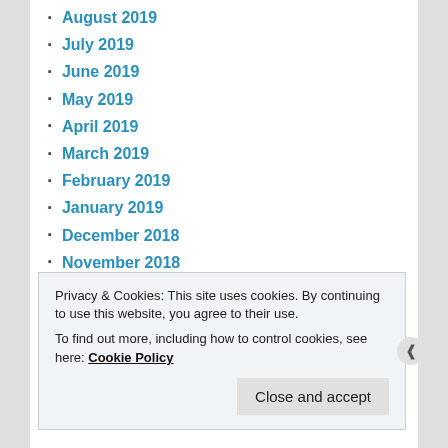August 2019
July 2019
June 2019
May 2019
April 2019
March 2019
February 2019
January 2019
December 2018
November 2018
October 2018
September 2018
August 2018
July 2018
Privacy & Cookies: This site uses cookies. By continuing to use this website, you agree to their use. To find out more, including how to control cookies, see here: Cookie Policy